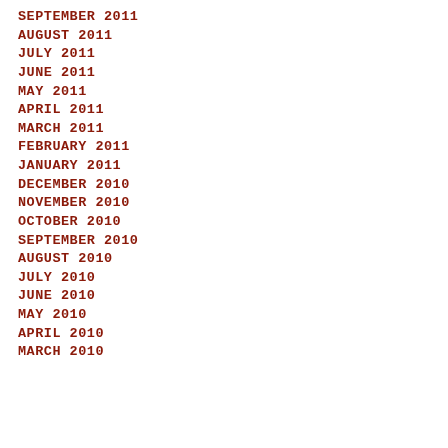SEPTEMBER 2011
AUGUST 2011
JULY 2011
JUNE 2011
MAY 2011
APRIL 2011
MARCH 2011
FEBRUARY 2011
JANUARY 2011
DECEMBER 2010
NOVEMBER 2010
OCTOBER 2010
SEPTEMBER 2010
AUGUST 2010
JULY 2010
JUNE 2010
MAY 2010
APRIL 2010
MARCH 2010